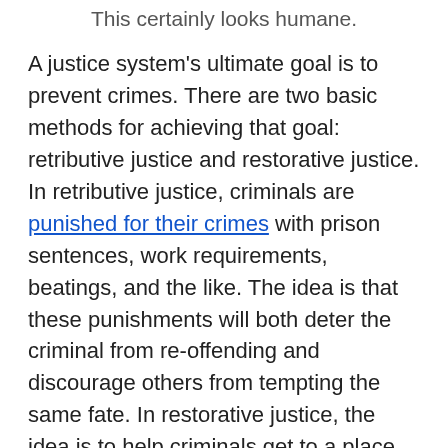This certainly looks humane.
A justice system's ultimate goal is to prevent crimes. There are two basic methods for achieving that goal: retributive justice and restorative justice. In retributive justice, criminals are punished for their crimes with prison sentences, work requirements, beatings, and the like. The idea is that these punishments will both deter the criminal from re-offending and discourage others from tempting the same fate. In restorative justice, the idea is to help criminals get to a place where they aren't likely to re-offend. This often takes the form of job training, therapy, and medication.
There's a huge debate in the real world about which